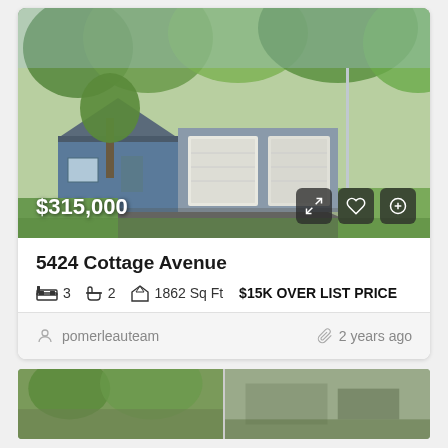[Figure (photo): Exterior photo of a single-story house with blue siding, two-car garage, and driveway, surrounded by trees]
$315,000
5424 Cottage Avenue
3 beds  2 baths  1862 Sq Ft  $15K OVER LIST PRICE
pomerleauteam   2 years ago
[Figure (photo): Bottom strip showing partial thumbnail images of additional property photos]